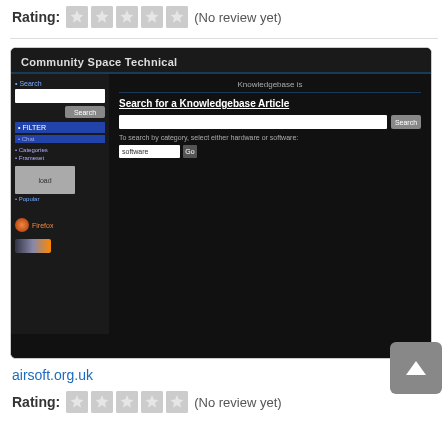Rating: (No review yet)
[Figure (screenshot): Screenshot of Community Space Technical website showing a knowledgebase search interface with a dark background, sidebar navigation, search bar, and category dropdown set to 'software']
airsoft.org.uk
Rating: (No review yet)